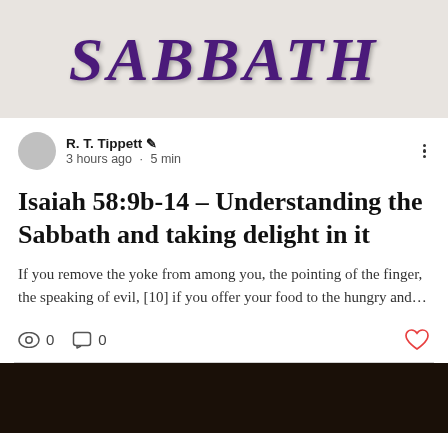[Figure (photo): Book cover or banner image showing the word SABBATH in large purple bold letters on a light textured background]
R. T. Tippett ✏ · 3 hours ago · 5 min
Isaiah 58:9b-14 - Understanding the Sabbath and taking delight in it
If you remove the yoke from among you, the pointing of the finger, the speaking of evil, [10] if you offer your food to the hungry and...
0 views · 0 comments · like
[Figure (photo): Dark partial image at bottom of page, appears to be another article thumbnail]